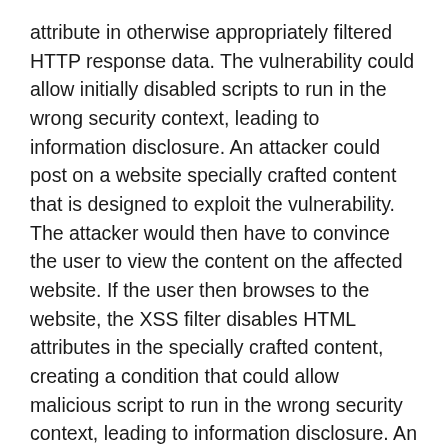attribute in otherwise appropriately filtered HTTP response data. The vulnerability could allow initially disabled scripts to run in the wrong security context, leading to information disclosure. An attacker could post on a website specially crafted content that is designed to exploit the vulnerability. The attacker would then have to convince the user to view the content on the affected website. If the user then browses to the website, the XSS filter disables HTML attributes in the specially crafted content, creating a condition that could allow malicious script to run in the wrong security context, leading to information disclosure. An attacker who successfully exploited the vulnerability could cause script to run on another user's system in the guise of a third-party website. Such script would run inside the browser when visiting the third-party website, and could take any action on the user's system that the third-party website was permitted to take. The vulnerability could only be exploited if the user clicked a hypertext link with a given HTML email